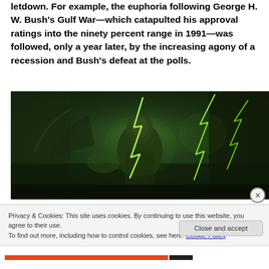letdown. For example, the euphoria following George H. W. Bush's Gulf War—which catapulted his approval ratings into the ninety percent range in 1991—was followed, only a year later, by the increasing agony of a recession and Bush's defeat at the polls.
[Figure (photo): A dark, dramatic image of a figure amid green lightning bolts, resembling a monster or Frankenstein scene with a stormy, nighttime atmosphere.]
Privacy & Cookies: This site uses cookies. By continuing to use this website, you agree to their use.
To find out more, including how to control cookies, see here: Cookie Policy